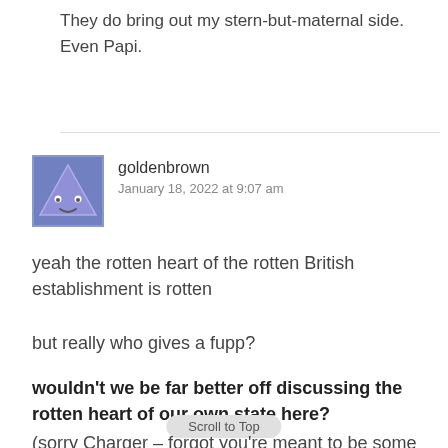They do bring out my stern-but-maternal side. Even Papi.
goldenbrown
January 18, 2022 at 9:07 am
yeah the rotten heart of the rotten British establishment is rotten
but really who gives a fupp?
wouldn't we be far better off discussing the rotten heart of our own state here?
(sorry Charger – forgot you're meant to be some sort